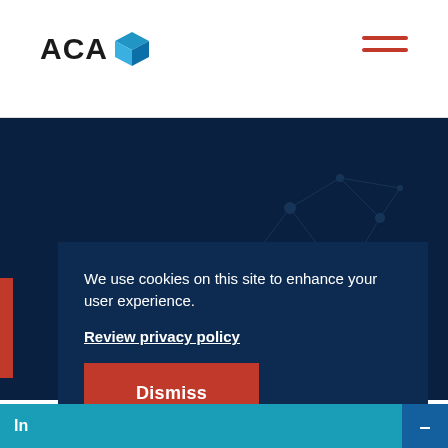ACA
[Figure (logo): ACA logo with blue cube icon and bold text]
We use cookies on this site to enhance your user experience.
Review privacy policy
Dismiss
In